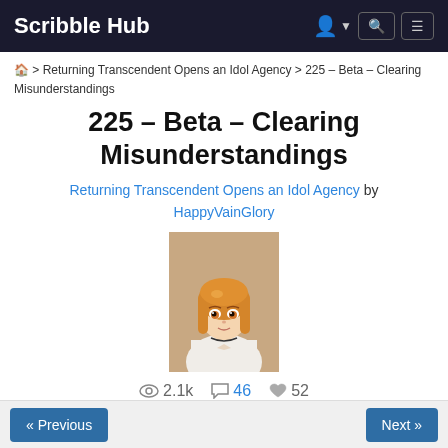Scribble Hub
🏠 > Returning Transcendent Opens an Idol Agency > 225 – Beta – Clearing Misunderstandings
225 – Beta – Clearing Misunderstandings
Returning Transcendent Opens an Idol Agency by HappyVainGlory
[Figure (illustration): Anime girl character with orange/blonde hair wearing white outfit, cover image for the novel]
👁 2.1k  💬 46  ❤ 52
Advertisements
« Previous   Next »